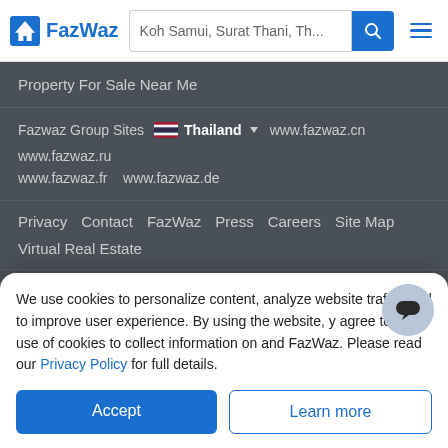FazWaz | Koh Samui, Surat Thani, Th...
Property For Sale Near Me
Fazwaz Group Sites   Thailand   www.fazwaz.cn   www.fazwaz.ru   www.fazwaz.fr   www.fazwaz.de
Privacy   Contact   FazWaz   Press   Careers   Site Map
Virtual Real Estate
Copyrights © 2022  FazWaz Group
We use cookies to personalize content, analyze website traffic, and to improve user experience. By using the website, you agree to the use of cookies to collect information on and off FazWaz. Please read our Privacy Policy for full details.
Accept
Learn more